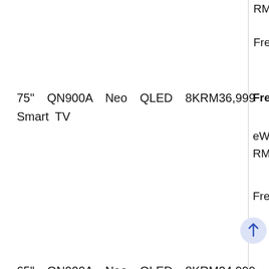RM6,000
Free Slim Fit Wa
75" QN900A Neo QLED 8K Smart TV  RM36,999
Free Gifts wort
eWallet (Touc RM4,000.
Free Slim Fit Wa
65" QN900A Neo QLED 8K Smart TV  RM24,999
Free Gifts wor
eWallet (Touc RM2,500
Free Slim Fit Wa
LSP9T The Premiere Ultra-short throw Triple laser  RM39,999
eWallet Credit